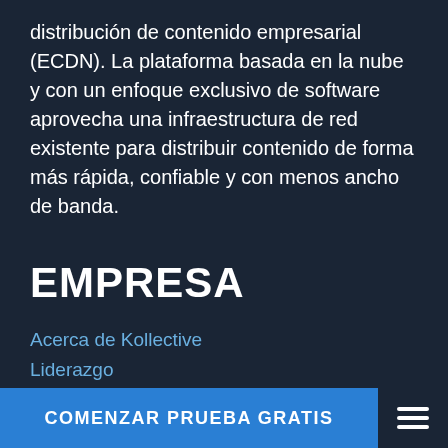distribución de contenido empresarial (ECDN). La plataforma basada en la nube y con un enfoque exclusivo de software aprovecha una infraestructura de red existente para distribuir contenido de forma más rápida, confiable y con menos ancho de banda.
EMPRESA
Acerca de Kollective
Liderazgo
Eventos y seminarios web
Carreras
Prensa
COMENZAR PRUEBA GRATIS